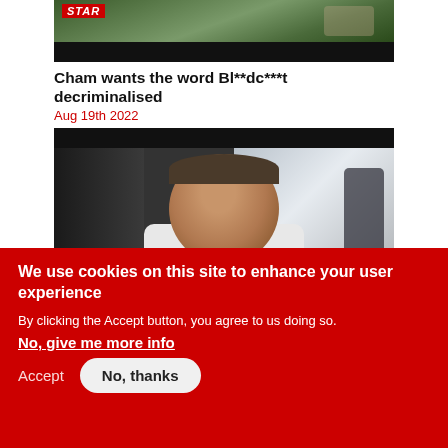[Figure (photo): Partial top photo with dark banner area and STAR logo overlay]
Cham wants the word Bl**dc***t decriminalised
Aug 19th 2022
[Figure (photo): Close-up photo of a man smiling, with STAR logo watermark, dark top and bottom bars]
We use cookies on this site to enhance your user experience
By clicking the Accept button, you agree to us doing so.
No, give me more info
Accept
No, thanks